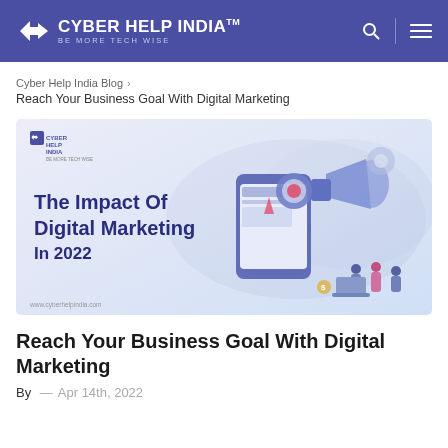CYBER HELP INDIA™ BE MORE TECH WISE
Cyber Help India Blog › Reach Your Business Goal With Digital Marketing
[Figure (illustration): Featured blog image showing 'The Impact Of Digital Marketing In 2022' with Cyber Help India logo, digital marketing icons including megaphone, target, gears, mobile device, and illustrated people working. URL: www.cyberhelpindia.com]
Reach Your Business Goal With Digital Marketing
By — Apr 14th, 2022